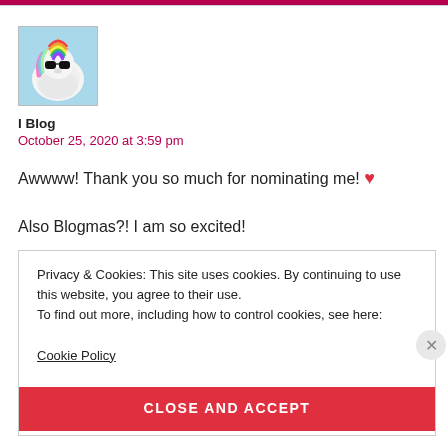[Figure (illustration): Avatar image of a colorful unicorn wearing sunglasses]
I Blog
October 25, 2020 at 3:59 pm
Awwww! Thank you so much for nominating me! ❤
Also Blogmas?! I am so excited!
Privacy & Cookies: This site uses cookies. By continuing to use this website, you agree to their use.
To find out more, including how to control cookies, see here:
Cookie Policy
CLOSE AND ACCEPT